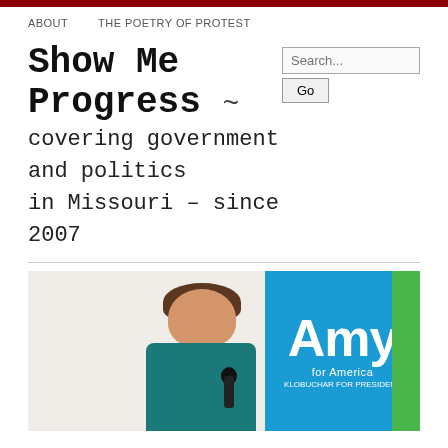ABOUT   THE POETRY OF PROTEST
Show Me Progress ~
covering government and politics in Missouri – since 2007
[Figure (photo): Woman in teal jacket speaking into a microphone at an Amy Klobuchar campaign event, with blue 'Amy' campaign signs in the background]
04   McCaskill Tweets